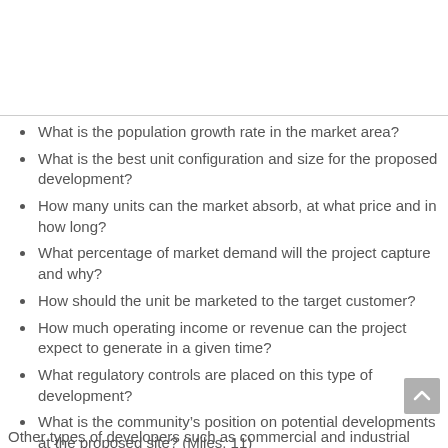What is the population growth rate in the market area?
What is the best unit configuration and size for the proposed development?
How many units can the market absorb, at what price and in how long?
What percentage of market demand will the project capture and why?
How should the unit be marketed to the target customer?
How much operating income or revenue can the project expect to generate in a given time?
What regulatory controls are placed on this type of development?
What is the community's position on potential developments at the proposed site? (Miles, 11)
Other types of developers such as commercial and industrial